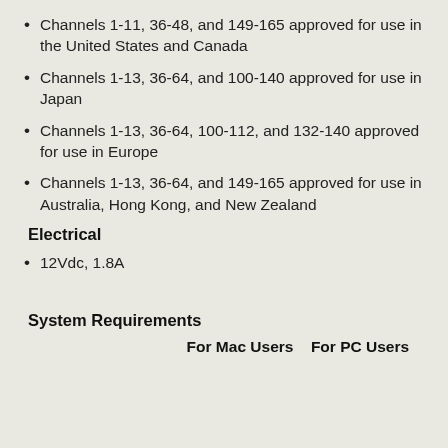Channels 1-11, 36-48, and 149-165 approved for use in the United States and Canada
Channels 1-13, 36-64, and 100-140 approved for use in Japan
Channels 1-13, 36-64, 100-112, and 132-140 approved for use in Europe
Channels 1-13, 36-64, and 149-165 approved for use in Australia, Hong Kong, and New Zealand
Electrical
12Vdc, 1.8A
System Requirements
| For Mac Users | For PC Users |
| --- | --- |